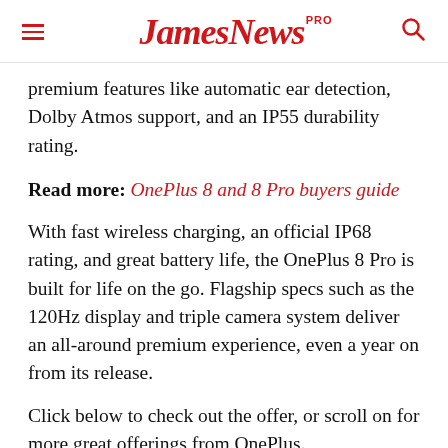JamesNews PRO
premium features like automatic ear detection, Dolby Atmos support, and an IP55 durability rating.
Read more: OnePlus 8 and 8 Pro buyers guide
With fast wireless charging, an official IP68 rating, and great battery life, the OnePlus 8 Pro is built for life on the go. Flagship specs such as the 120Hz display and triple camera system deliver an all-around premium experience, even a year on from its release.
Click below to check out the offer, or scroll on for more great offerings from OnePlus.
$500